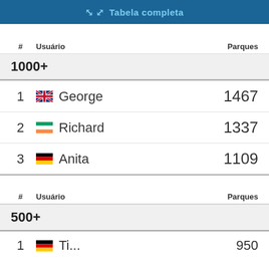[Figure (screenshot): Blue banner button with arrows icon and text 'Tabela completa']
| # | Usuário | Parques |
| --- | --- | --- |
| 1000+ |  |  |
| 1 | 🇬🇧 George | 1467 |
| 2 | 🇮🇪 Richard | 1337 |
| 3 | 🇩🇪 Anita | 1109 |
| # | Usuário | Parques |
| --- | --- | --- |
| 500+ |  |  |
| 1 | 🇩🇪 Ti... | 950 |